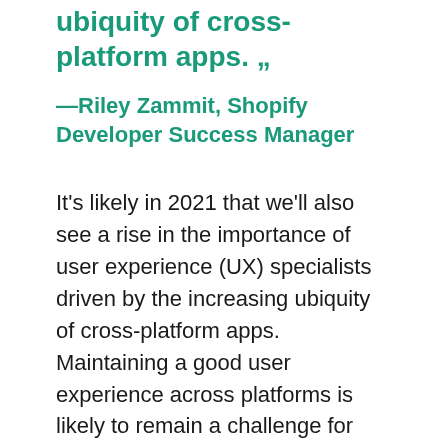ubiquity of cross-platform apps. „
—Riley Zammit, Shopify Developer Success Manager
It's likely in 2021 that we'll also see a rise in the importance of user experience (UX) specialists driven by the increasing ubiquity of cross-platform apps. Maintaining a good user experience across platforms is likely to remain a challenge for two reasons:
1  The explosion in website builder tools is largely responsible for the good design